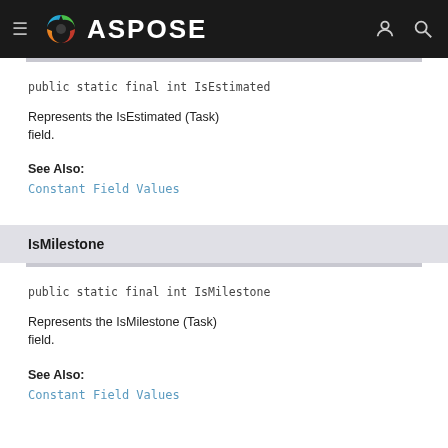ASPOSE
Represents the IsEstimated (Task) field.
See Also:
Constant Field Values
IsMilestone
Represents the IsMilestone (Task) field.
See Also:
Constant Field Values